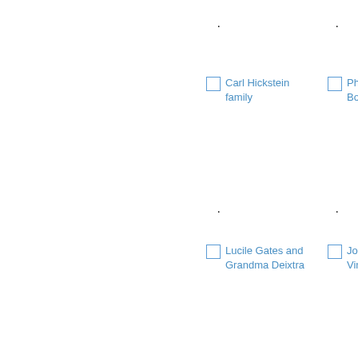Carl Hickstein family
Phy... Boo...
Lucile Gates and Grandma Deixtra
Jose... Vin...